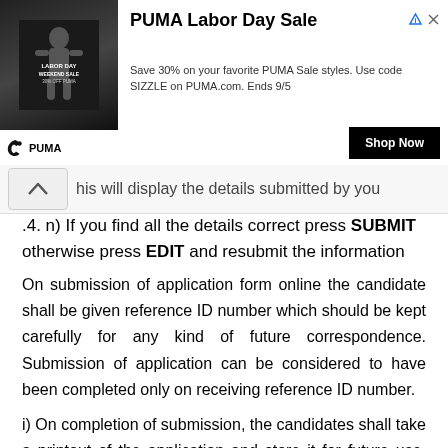[Figure (other): PUMA Labor Day Sale advertisement banner with image of athlete, PUMA logo, Shop Now button, and ad description text.]
his will display the details submitted by you
.4. n) If you find all the details correct press SUBMIT otherwise press EDIT and resubmit the information
On submission of application form online the candidate shall be given reference ID number which should be kept carefully for any kind of future correspondence. Submission of application can be considered to have been completed only on receiving reference ID number.
i) On completion of submission, the candidates shall take a printout of the application and store it for future use. Candidates should not post the printout of the